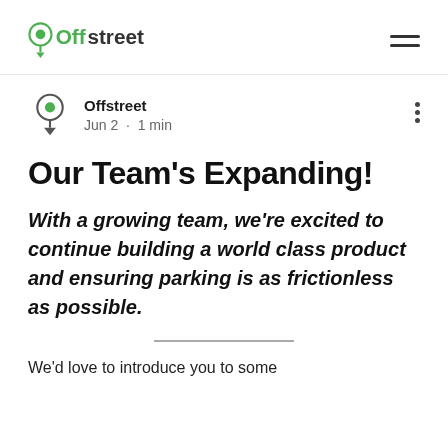Offstreet
Offstreet
Jun 2 · 1 min
Our Team's Expanding!
With a growing team, we're excited to continue building a world class product and ensuring parking is as frictionless as possible.
We'd love to introduce you to some